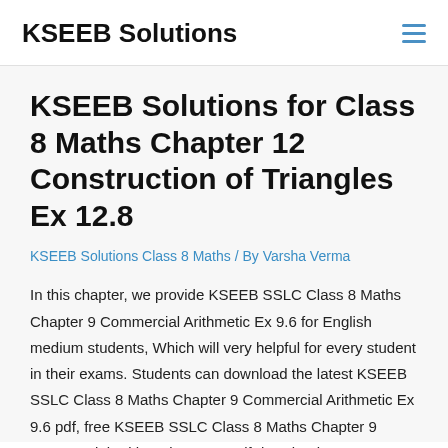KSEEB Solutions
KSEEB Solutions for Class 8 Maths Chapter 12 Construction of Triangles Ex 12.8
KSEEB Solutions Class 8 Maths / By Varsha Verma
In this chapter, we provide KSEEB SSLC Class 8 Maths Chapter 9 Commercial Arithmetic Ex 9.6 for English medium students, Which will very helpful for every student in their exams. Students can download the latest KSEEB SSLC Class 8 Maths Chapter 9 Commercial Arithmetic Ex 9.6 pdf, free KSEEB SSLC Class 8 Maths Chapter 9 Commercial Arithmetic Ex 9.6 pdf download. Now